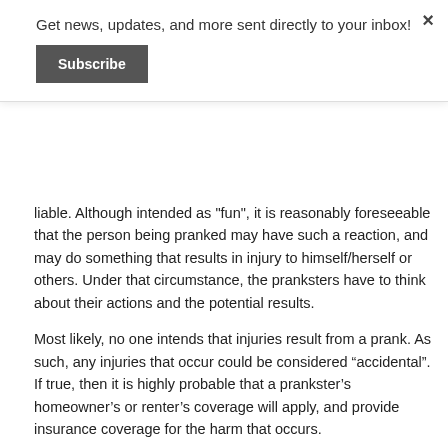Get news, updates, and more sent directly to your inbox!
Subscribe
liable.  Although intended as "fun", it is reasonably foreseeable that the person being pranked may have such a reaction, and may do something that results in injury to himself/herself or others.  Under that circumstance, the pranksters have to think about their actions and the potential results.
Most likely, no one intends that injuries result from a prank.  As such, any injuries that occur could be considered “accidental”.  If true, then it is highly probable that a prankster’s homeowner’s or renter’s coverage will apply, and provide insurance coverage for the harm that occurs.
Hopefully, these stay “fun”.  However, if not, there may well be recourse against the pranksters.
Just be careful.
Posted at 11:03 AM in Accidents in the News, Arizona Legislation |